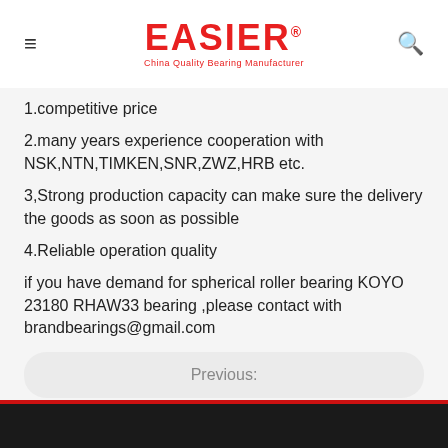EASIER® China Quality Bearing Manufacturer
1.competitive price
2.many years experience cooperation with NSK,NTN,TIMKEN,SNR,ZWZ,HRB etc.
3,Strong production capacity can make sure the delivery the goods as soon as possible
4.Reliable operation quality
if you have demand for spherical roller bearing KOYO 23180 RHAW33 bearing ,please contact with brandbearings@gmail.com
Previous:
Next:
23180 RHAW33 spherical roller bearing